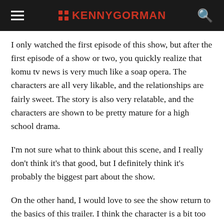KENNYGORMAN
I only watched the first episode of this show, but after the first episode of a show or two, you quickly realize that komu tv news is very much like a soap opera. The characters are all very likable, and the relationships are fairly sweet. The story is also very relatable, and the characters are shown to be pretty mature for a high school drama.
I'm not sure what to think about this scene, and I really don't think it's that good, but I definitely think it's probably the biggest part about the show.
On the other hand, I would love to see the show return to the basics of this trailer. I think the character is a bit too mature for their age, but they are going to be very hard to get into. I would love to see them re-enact the events of the original series based on the view...